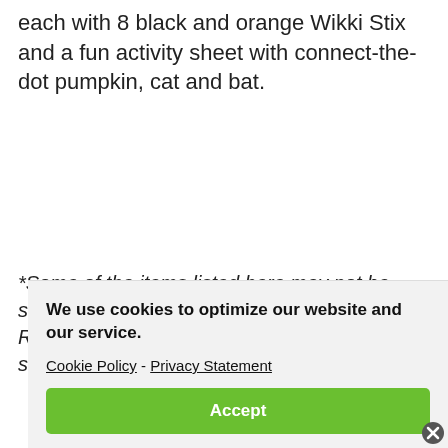each with 8 black and orange Wikki Stix and a fun activity sheet with connect-the-dot pumpkin, cat and bat.
*Some of the items listed here may not be suitable for babies and/or young children.  Remember to check each item's packaging for safety information.
We use cookies to optimize our website and our service.
Cookie Policy - Privacy Statement
Accept